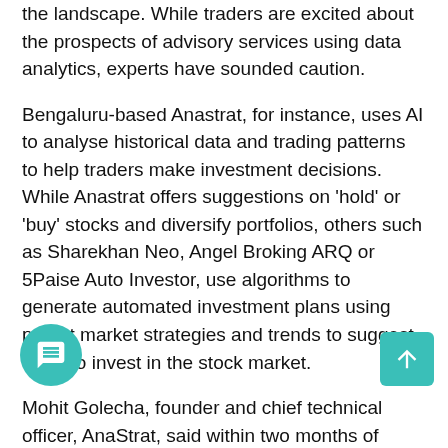the landscape. While traders are excited about the prospects of advisory services using data analytics, experts have sounded caution.
Bengaluru-based Anastrat, for instance, uses AI to analyse historical data and trading patterns to help traders make investment decisions. While Anastrat offers suggestions on 'hold' or 'buy' stocks and diversify portfolios, others such as Sharekhan Neo, Angel Broking ARQ or 5Paise Auto Investor, use algorithms to generate automated investment plans using preset market strategies and trends to suggest ways to invest in the stock market.
Mohit Golecha, founder and chief technical officer, AnaStrat, said within two months of launching its "one-of-a-kind service" it has 110,000 clients with 35,000 daily active users. It has partnered with four brokerages in India—Zerodha, Fyers, IIFL and Dhan—to offer its services.
Deepak Gada, a trader and financial advisor, who works as a sub-broker for many brokerages and handles portfolios of over 100